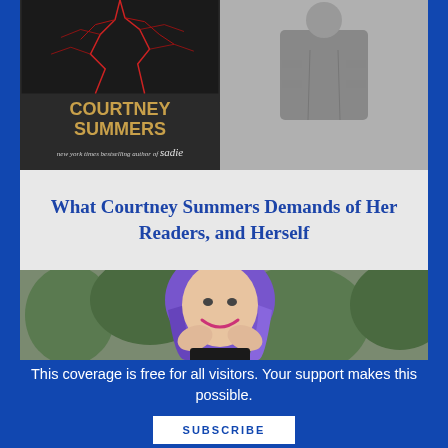[Figure (photo): Book cover of a Courtney Summers novel with dark red branching design on dark background, text reads 'COURTNEY SUMMERS new york times bestselling author of sadie', alongside a black-and-white photo of a person in a button-up shirt]
What Courtney Summers Demands of Her Readers, and Herself
[Figure (photo): Color portrait photo of a woman with long purple and blue hair, smiling, hands raised to her face, wearing a black lace outfit, with green foliage in background]
This coverage is free for all visitors. Your support makes this possible.
SUBSCRIBE